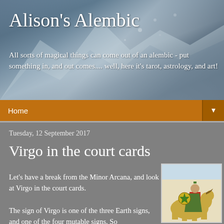Alison's Alembic
All sorts of magical things can come out of an alembic - put something in, and out comes.... well, here it's tarot, astrology, and art!
Home ▼
Tuesday, 12 September 2017
Virgo in the court cards
Let's have a break from the Minor Arcana, and look at Virgo in the court cards.
The sign of Virgo is one of the three Earth signs, and one of the four mutable signs. So
[Figure (illustration): Tarot card illustration showing a figure on horseback holding a pentacle/star shield, wearing a green cloak and red garments]